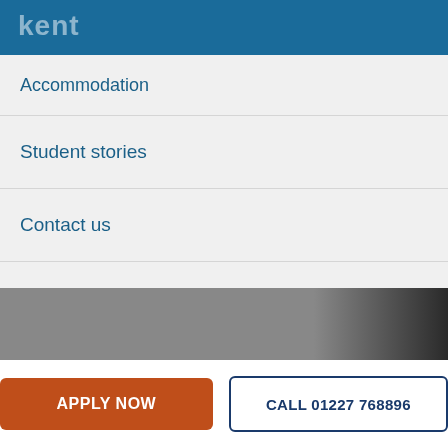kent
Accommodation
Student stories
Contact us
School of Computing
[Figure (photo): Partial image strip showing grey and dark background]
APPLY NOW
CALL 01227 768896